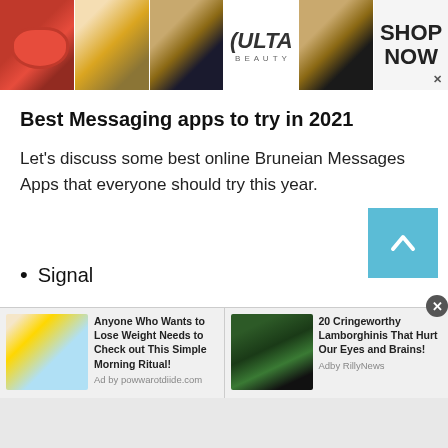[Figure (screenshot): Ulta Beauty advertisement banner with cosmetics images (lips, makeup brush, eyes) and SHOP NOW call-to-action]
Best Messaging apps to try in 2021
Let’s discuss some best online Bruneian Messages Apps that everyone should try this year.
Signal
[Figure (screenshot): Two bottom advertisement panels: 'Anyone Who Wants to Lose Weight Needs to Check out This Simple Morning Ritual!' and '20 Cringeworthy Lamborghinis That Hurt Our Eyes and Brains!']